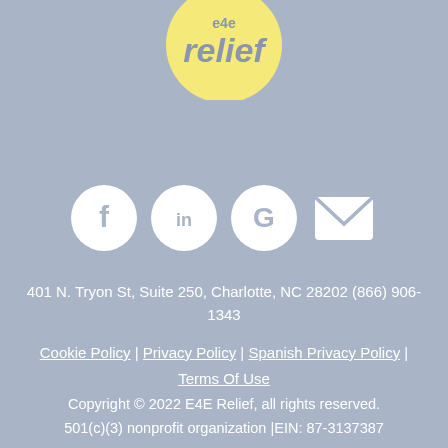[Figure (logo): e4e relief logo — circular yellow badge with 'e4e' in small text and 'relief' in large text, blue/grey color scheme]
[Figure (infographic): Row of four social media icons: Facebook (circle with f), LinkedIn (circle with in), Google (circle with G), and Email (envelope icon) — all white on the blue-grey background]
401 N. Tryon St, Suite 250, Charlotte, NC 28202 (866) 906-1343
Cookie Policy | Privacy Policy | Spanish Privacy Policy | Terms Of Use
Copyright © 2022 E4E Relief, all rights reserved. 501(c)(3) nonprofit organization |EIN: 87-3137387